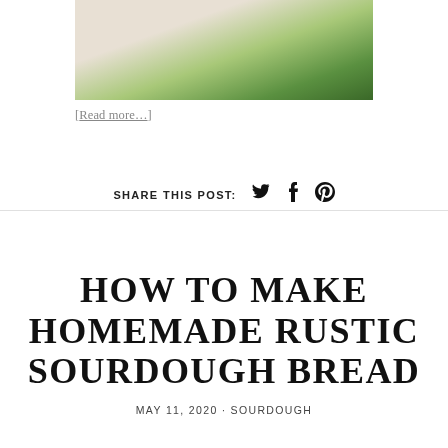[Figure (photo): Partial photo of green herb/plant leaves on a light wood surface]
[Read more…]
SHARE THIS POST: 🐦 f 𝗣
HOW TO MAKE HOMEMADE RUSTIC SOURDOUGH BREAD
MAY 11, 2020 · SOURDOUGH